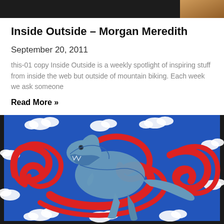[Figure (photo): Dark header image strip at top of page, partially visible photo]
Inside Outside – Morgan Meredith
September 20, 2011
this-01 copy Inside Outside is a weekly spotlight of inspiring stuff from inside the web but outside of mountain biking. Each week we ask someone
Read More »
[Figure (illustration): Framed illustration of a blue T-Rex dinosaur with red swirling wind patterns and white clouds on a blue background]